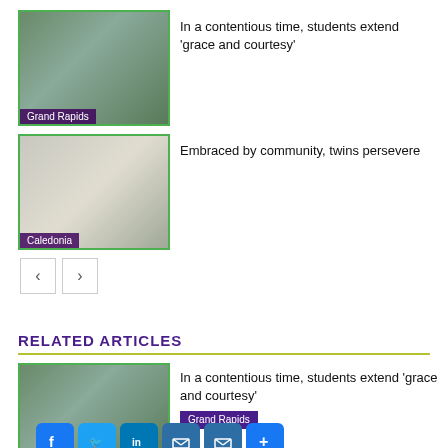[Figure (photo): Group of students making peace signs outdoors, labeled Grand Rapids]
In a contentious time, students extend 'grace and courtesy'
[Figure (photo): Two young women posing together outdoors, labeled Caledonia]
Embraced by community, twins persevere
RELATED ARTICLES
[Figure (photo): Group photo of students outdoors with social sharing icons overlay]
In a contentious time, students extend 'grace and courtesy'
Grand Rapids